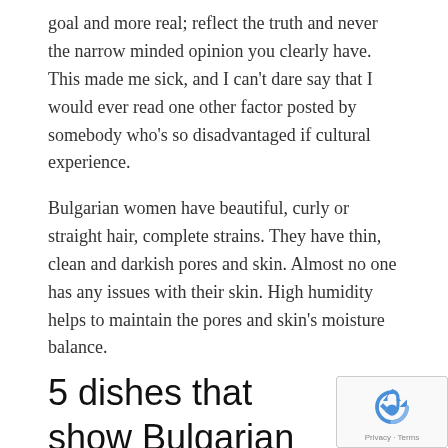goal and more real; reflect the truth and never the narrow minded opinion you clearly have. This made me sick, and I can't dare say that I would ever read one other factor posted by somebody who's so disadvantaged if cultural experience.
Bulgarian women have beautiful, curly or straight hair, complete strains. They have thin, clean and darkish pores and skin. Almost no one has any issues with their skin. High humidity helps to maintain the pores and skin's moisture balance.
5 dishes that show Bulgarian yogurt is one of the best yogur...